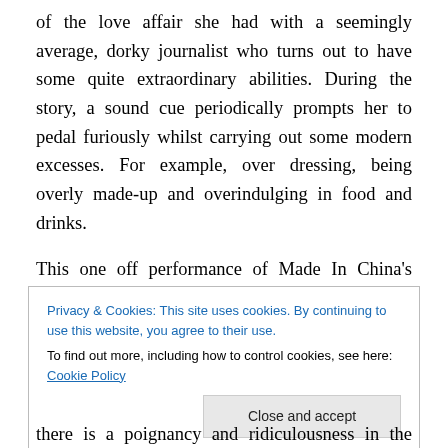of the love affair she had with a seemingly average, dorky journalist who turns out to have some quite extraordinary abilities. During the story, a sound cue periodically prompts her to pedal furiously whilst carrying out some modern excesses. For example, over dressing, being overly made-up and overindulging in food and drinks.
This one off performance of Made In China's debut show in the middle of the run of their latest offering, Gym Party, which is also currently at the BAC. It is a commentary on the modern singleton, Bridget Jones' lifestyle and the
Privacy & Cookies: This site uses cookies. By continuing to use this website, you agree to their use.
To find out more, including how to control cookies, see here: Cookie Policy
Close and accept
there is a poignancy and ridiculousness in the contract of